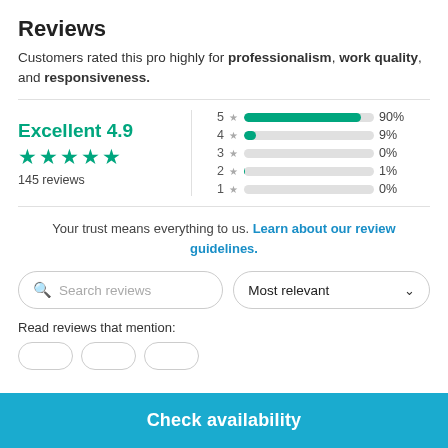Reviews
Customers rated this pro highly for professionalism, work quality, and responsiveness.
[Figure (bar-chart): Rating distribution]
Your trust means everything to us. Learn about our review guidelines.
Search reviews
Most relevant
Read reviews that mention:
Check availability